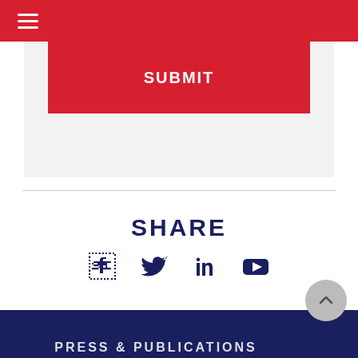Navigation menu
SUBMIT
SHARE
[Figure (infographic): Social media icons: Facebook, Twitter, LinkedIn, YouTube]
PRESS & PUBLICATIONS